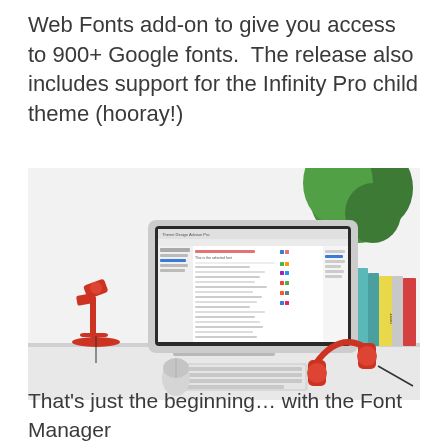Web Fonts add-on to give you access to 900+ Google fonts. The release also includes support for the Infinity Pro child theme (hooray!)
[Figure (photo): A desktop computer displaying a web font manager interface, with a red desk lamp on the left, a plant in the upper right, stacked books on the right, and red headphones and keyboard in the foreground on a white desk.]
That's just the beginning… with the Font Manager